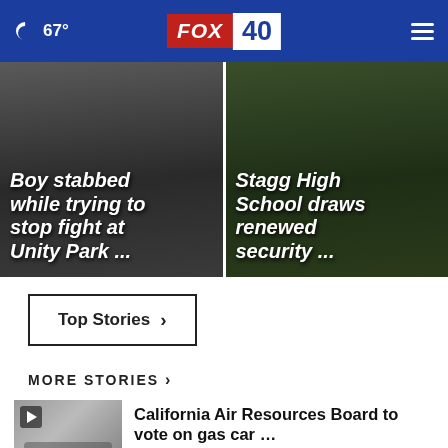67° FOX 40
[Figure (screenshot): Two hero news cards side by side. Left card: 'Boy stabbed while trying to stop fight at Unity Park ...' Right card: 'Stagg High School draws renewed security ...']
Boy stabbed while trying to stop fight at Unity Park ...
Stagg High School draws renewed security ...
Top Stories ›
MORE STORIES ›
California Air Resources Board to vote on gas car …
Elementary school principal makes recovery after …
Suspect in violent sexual assault case